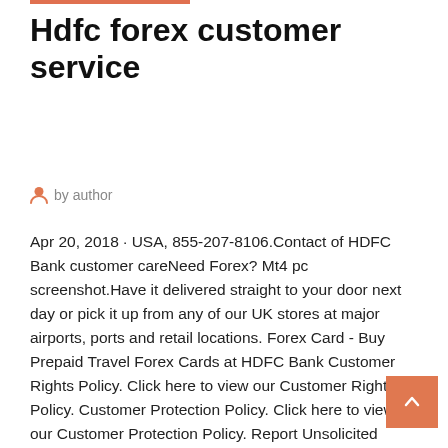Hdfc forex customer service
by author
Apr 20, 2018 · USA, 855-207-8106.Contact of HDFC Bank customer careNeed Forex? Mt4 pc screenshot.Have it delivered straight to your door next day or pick it up from any of our UK stores at major airports, ports and retail locations. Forex Card - Buy Prepaid Travel Forex Cards at HDFC Bank Customer Rights Policy. Click here to view our Customer Rights Policy. Customer Protection Policy. Click here to view our Customer Protection Policy. Report Unsolicited Calls. To report any unsolicited commercial communication you can email us at unsolicitedcalls@hdfcbank.com or SMS UCC to 5676712 or call us on 022-28569303
Dec 7, 2018 HDFC offers Forex Cards to help you pay in 20 major currencies and card which offers improved insurance